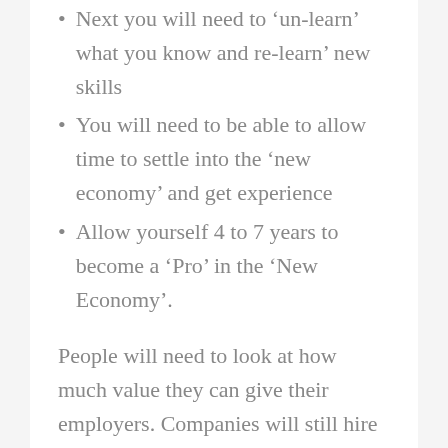Next you will need to ‘un-learn’ what you know and re-learn’ new skills
You will need to be able to allow time to settle into the ‘new economy’ and get experience
Allow yourself 4 to 7 years to become a ‘Pro’ in the ‘New Economy’.
People will need to look at how much value they can give their employers. Companies will still hire staff and will use performance based models at work to motivate employees. Base wages with structured ways to motivate employees to perform will be introduced at work. Unless you deliver you will not be paid your full salary you once saw. So though the staff entitlements on the surface would not